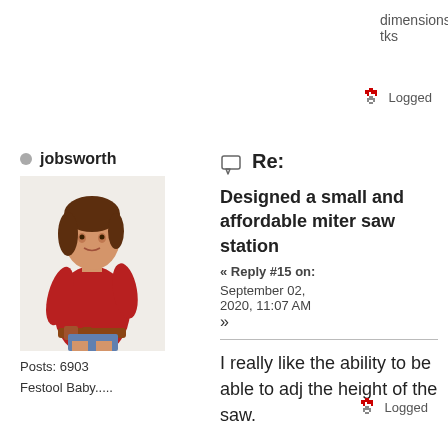dimensions.
tks
Logged
jobsworth
[Figure (photo): Avatar image of a woman in a red long-sleeve top and denim shorts with a tool belt]
Posts: 6903
Festool Baby.....
Re:
Designed a small and affordable miter saw station
« Reply #15 on: September 02, 2020, 11:07 AM »
I really like the ability to be able to adj the height of the saw.
Logged